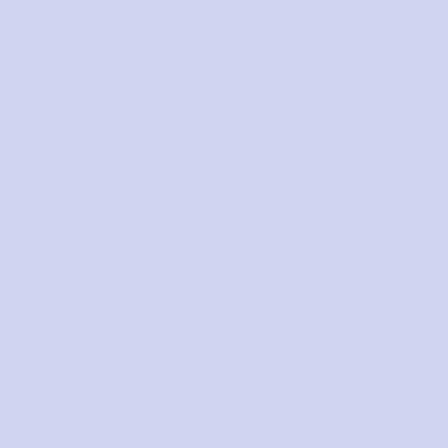May 25, 2009 — Memorial Day — and six hours of 50-year level rainfall.
153. Again, excessive residential flooding. Numerous homes.
154. In many areas, other parts of 2009 did not flood.
155. Like the 2009 flood events.
156. The most recent August 19, 2016, flood event.
157. Many homes inch rain event.
158. Plaintiffs believe the engineering as flood plain continue to or flood plain.
DEFENDANTS' PLAINTIFFS' RESIDENCES REQUESTED